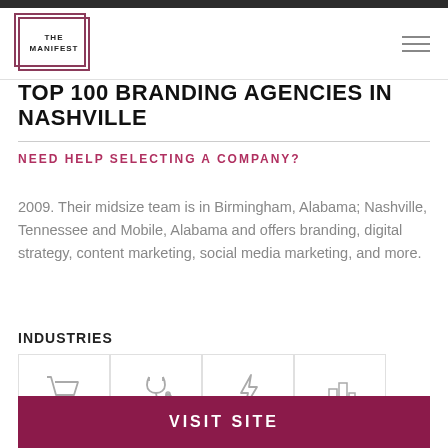THE MANIFEST
TOP 100 BRANDING AGENCIES IN NASHVILLE
NEED HELP SELECTING A COMPANY?
2009. Their midsize team is in Birmingham, Alabama; Nashville, Tennessee and Mobile, Alabama and offers branding, digital strategy, content marketing, social media marketing, and more.
INDUSTRIES
[Figure (illustration): Four industry icons in bordered boxes: shopping cart, stethoscope, lightning bolt, bar chart/buildings]
VISIT SITE